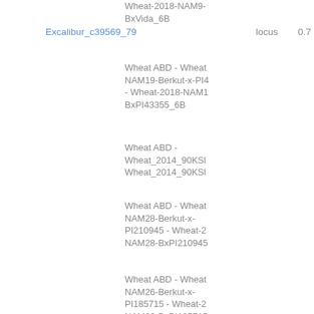Wheat-2018-NAM9-BxVida_6B
Excalibur_c39569_79
locus
0.7
Wheat ABD - Wheat NAM19-Berkut-x-PI4 - Wheat-2018-NAM1 BxPI43355_6B
Wheat ABD - Wheat_2014_90KSl Wheat_2014_90KSl
Wheat ABD - Wheat NAM28-Berkut-x-PI210945 - Wheat-2 NAM28-BxPI210945
Wheat ABD - Wheat NAM26-Berkut-x-PI185715 - Wheat-2 NAM26-BxPI185715
Wheat ABD - Wheat NAM28-Berkut-x-PI210945 - Wheat-2 NAM28-BxPI210945
Wheat ABD - Wheat NAM2-Berkut-x-PI57 - Wheat-2018-NAM2 BxPI572692_6B
Wheat ABD - Wheat